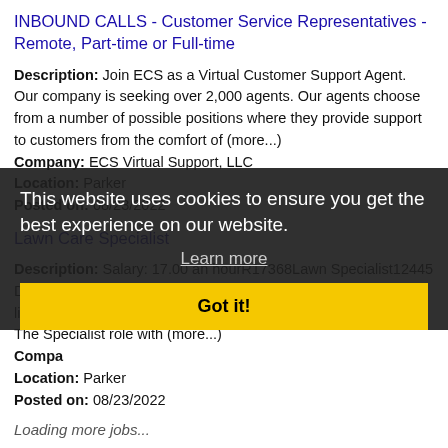INBOUND CALLS - Customer Service Representatives - Remote, Part-time or Full-time
Description: Join ECS as a Virtual Customer Support Agent. Our company is seeking over 2,000 agents. Our agents choose from a number of possible positions where they provide support to customers from the comfort of (more...)
Company: ECS Virtual Support, LLC
Location: Parker
Posted on: 08/23/2022
Lawn Care Specialist
Description: Salary: 17.00 an hourR17368Lawn Specialist12445 Dumont Way, Littleton, Colorado 80125 Job Description Do you like being outdoors Do you like a job where every day is different The Specialist role with (more...)
Company:
Location: Parker
Posted on: 08/23/2022
Loading more jobs...
This website uses cookies to ensure you get the best experience on our website.
Learn more
Got it!
Log In or Create An Account
Username: